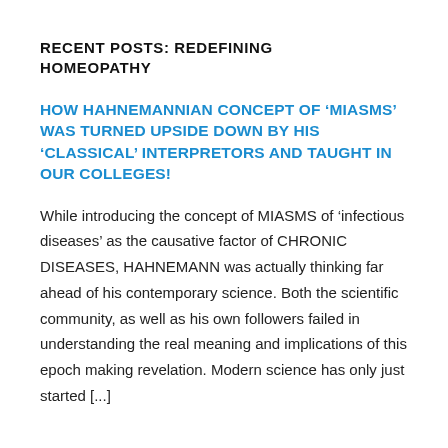RECENT POSTS: REDEFINING HOMEOPATHY
HOW HAHNEMANNIAN CONCEPT OF ‘MIASMS’ WAS TURNED UPSIDE DOWN BY HIS ‘CLASSICAL’ INTERPRETORS AND TAUGHT IN OUR COLLEGES!
While introducing the concept of MIASMS of ‘infectious diseases’ as the causative factor of CHRONIC DISEASES, HAHNEMANN was actually thinking far ahead of his contemporary science. Both the scientific community, as well as his own followers failed in understanding the real meaning and implications of this epoch making revelation. Modern science has only just started [...]